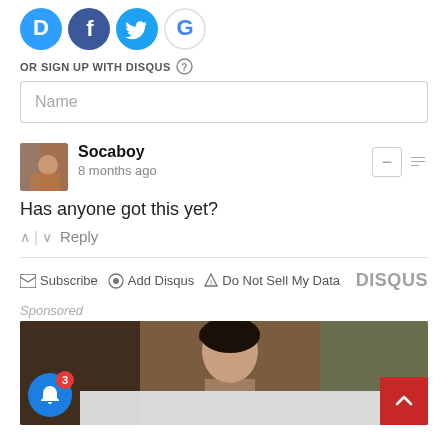[Figure (logo): Social sign-in icons: Disqus (blue D), Facebook (blue f), Twitter (blue bird), Google (G)]
OR SIGN UP WITH DISQUS ?
Name
Socaboy
8 months ago
Has anyone got this yet?
^ | v Reply
Subscribe  Add Disqus  Do Not Sell My Data    DISQUS
Sponsored
[Figure (photo): Sponsored content image showing a person with dark hair against a brown/tan background]